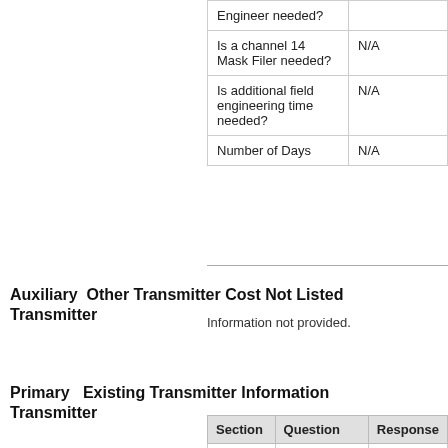| Question | Response |
| --- | --- |
| Engineer needed? |  |
| Is a channel 14 Mask Filer needed? | N/A |
| Is additional field engineering time needed? | N/A |
| Number of Days | N/A |
Back to Top ↑
Auxiliary Transmitter   Other Transmitter Cost Not Listed
Information not provided.
Back to Top ↑
Primary Transmitter   Existing Transmitter Information
| Section | Question | Response |
| --- | --- | --- |
| Existing | Type of change | Purchase |